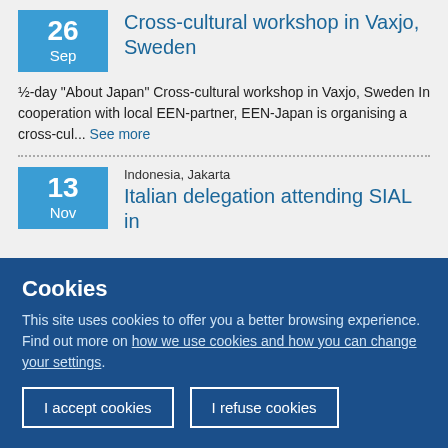Cross-cultural workshop in Vaxjo, Sweden
½-day “About Japan” Cross-cultural workshop in Vaxjo, Sweden In cooperation with local EEN-partner, EEN-Japan is organising a cross-cul... See more
Italian delegation attending SIAL in
Indonesia, Jakarta
Cookies
This site uses cookies to offer you a better browsing experience. Find out more on how we use cookies and how you can change your settings.
I accept cookies
I refuse cookies